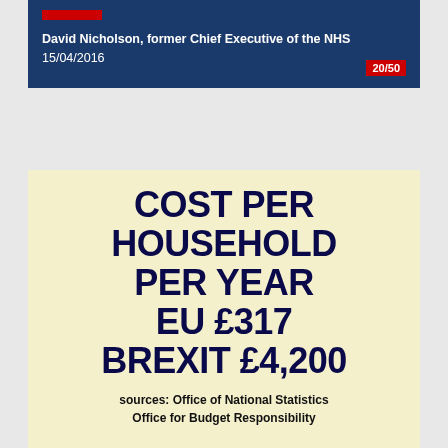David Nicholson, former Chief Executive of the NHS
15/04/2016
20/50
[Figure (infographic): Cream/yellow infographic card showing cost comparison: Cost per household per year EU £317, Brexit £4,200. Sources: Office of National Statistics, Office for Budget Responsibility]
sources: Office of National Statistics
Office for Budget Responsibility